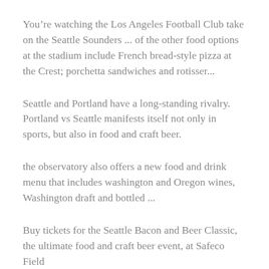You’re watching the Los Angeles Football Club take on the Seattle Sounders ... of the other food options at the stadium include French bread-style pizza at the Crest; porchetta sandwiches and rotisser...
Seattle and Portland have a long-standing rivalry. Portland vs Seattle manifests itself not only in sports, but also in food and craft beer.
the observatory also offers a new food and drink menu that includes washington and Oregon wines, Washington draft and bottled ...
Buy tickets for the Seattle Bacon and Beer Classic, the ultimate food and craft beer event, at Safeco Field